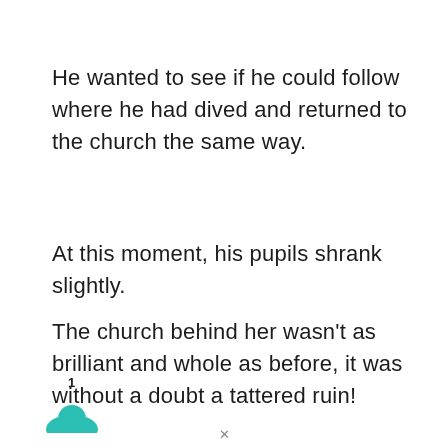He wanted to see if he could follow where he had dived and returned to the church the same way.
At this moment, his pupils shrank slightly.
The church behind her wasn't as brilliant and whole as before, it was without a doubt a tattered ruin!
1